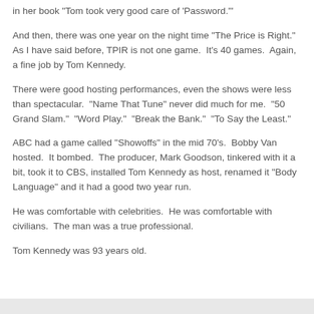in her book "Tom took very good care of 'Password.'"
And then, there was one year on the night time "The Price is Right."  As I have said before, TPIR is not one game.  It's 40 games.  Again, a fine job by Tom Kennedy.
There were good hosting performances, even the shows were less than spectacular.  "Name That Tune" never did much for me.  "50 Grand Slam."  "Word Play."  "Break the Bank."  "To Say the Least."
ABC had a game called "Showoffs" in the mid 70's.  Bobby Van hosted.  It bombed.  The producer, Mark Goodson, tinkered with it a bit, took it to CBS, installed Tom Kennedy as host, renamed it "Body Language" and it had a good two year run.
He was comfortable with celebrities.  He was comfortable with civilians.  The man was a true professional.
Tom Kennedy was 93 years old.